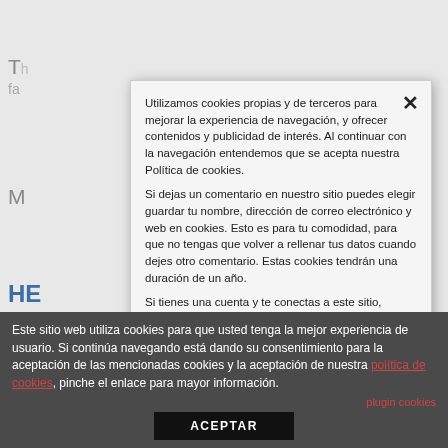[Figure (screenshot): Background webpage partially visible behind cookie consent modal, showing fragments of article title text in blue and grey, and partial article cards.]
Utilizamos cookies propias y de terceros para mejorar la experiencia de navegación, y ofrecer contenidos y publicidad de interés. Al continuar con la navegación entendemos que se acepta nuestra Política de cookies.

Si dejas un comentario en nuestro sitio puedes elegir guardar tu nombre, dirección de correo electrónico y web en cookies. Esto es para tu comodidad, para que no tengas que volver a rellenar tus datos cuando dejes otro comentario. Estas cookies tendrán una duración de un año.

Si tienes una cuenta y te conectas a este sitio, instalaremos una cookie temporal para determinar si tu navegador acepta cookies. Esta cookie no contiene datos personales y se elimina al cerrar el navegador.
Cuando accedas, también instalaremos varias cookies para guardar tu información de acceso y tus opciones de visualización de pantalla. Las cookies de acceso duran dos días, y las cookies de opciones de pantalla duran un año. Si seleccionas «Recuérdarme», tu acceso perdurará durante dos semanas. Si sales de tu cuenta las cookies de
Este sitio web utiliza cookies para que usted tenga la mejor experiencia de usuario. Si continúa navegando está dando su consentimiento para la aceptación de las mencionadas cookies y la aceptación de nuestra política de cookies, pinche el enlace para mayor información.
plugin cookies
ACEPTAR